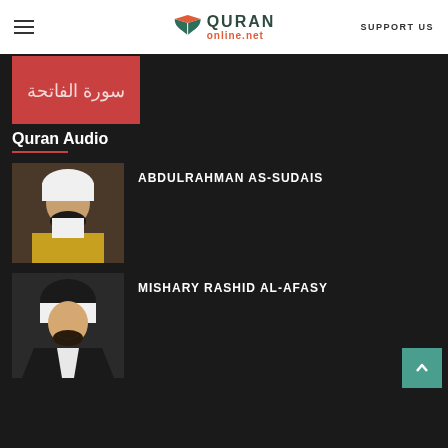QURAN online.net | SUPPORT US
[Figure (photo): Red banner with Arabic calligraphy text]
Quran Audio
[Figure (photo): Portrait photo of Abdulrahman As-Sudais, a man in white traditional Saudi dress]
ABDULRAHMAN AS-SUDAIS
[Figure (photo): Portrait photo of Mishary Rashid Al-Afasy, a man in white traditional dress smiling]
MISHARY RASHID AL-AFASY